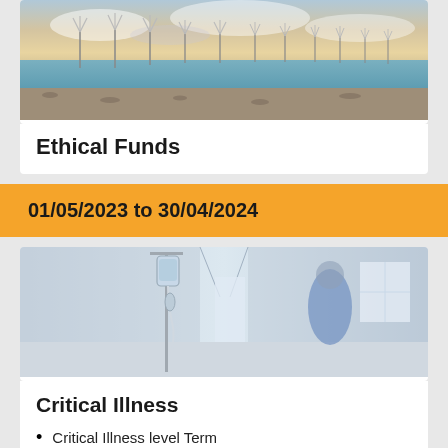[Figure (photo): Offshore wind farm at sunset with turbines lined along a sandy coastline and calm water]
Ethical Funds
01/05/2023 to 30/04/2024
[Figure (photo): Hospital corridor with a medical IV drip in the foreground and a person in blue scrubs walking away in the background]
Critical Illness
Critical Illness level Term
Critical Illness Decreasing Term